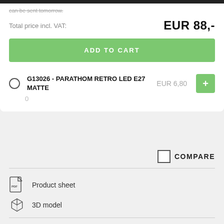can be sent tomorrow.
Total price incl. VAT:   EUR 88,-
ADD TO CART
G13026 - PARATHOM RETRO LED E27 MATTE   EUR 6,80   + 0
COMPARE
Product sheet
3D model